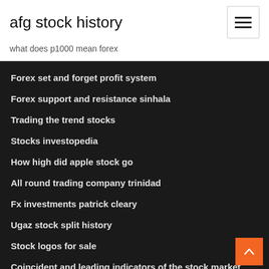afg stock history
what does p1000 mean forex
Forex set and forget profit system
Forex support and resistance sinhala
Trading the trend stocks
Stocks investopedia
How high did apple stock go
All round trading company trinidad
Fx investments patrick cleary
Ugaz stock split history
Stock logos for sale
Coincident and leading indicators of the stock market